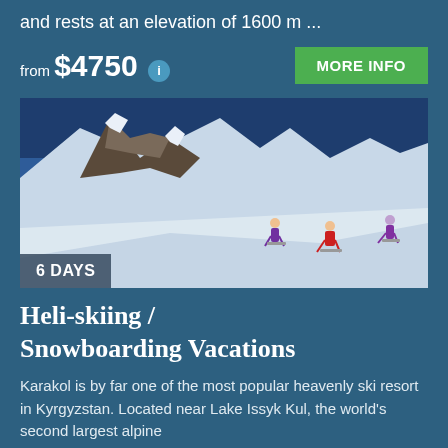and rests at an elevation of 1600 m ...
from $4750
[Figure (photo): Three skiers on a snowy mountain slope with rocky peaks and blue sky. Overlay badge reads '6 DAYS'.]
Heli-skiing / Snowboarding Vacations
Karakol is by far one of the most popular heavenly ski resort in Kyrgyzstan. Located near Lake Issyk Kul, the world's second largest alpine